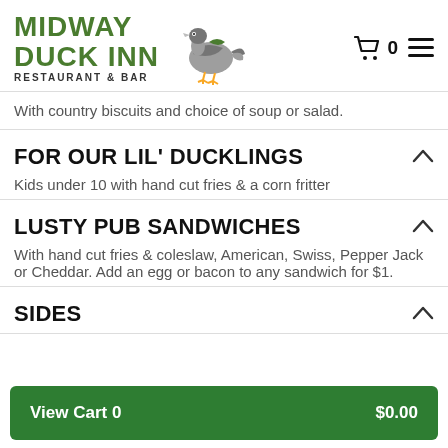[Figure (logo): Midway Duck Inn Restaurant & Bar logo with flying duck illustration]
With country biscuits and choice of soup or salad.
FOR OUR LIL' DUCKLINGS
Kids under 10 with hand cut fries & a corn fritter
LUSTY PUB SANDWICHES
With hand cut fries & coleslaw, American, Swiss, Pepper Jack or Cheddar. Add an egg or bacon to any sandwich for $1.
SIDES
View Cart 0    $0.00